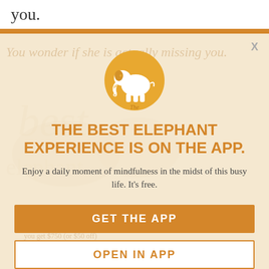you.
[Figure (logo): Elephant Journal app logo: orange/golden circle with white elephant silhouette]
THE BEST ELEPHANT EXPERIENCE IS ON THE APP.
Enjoy a daily moment of mindfulness in the midst of this busy life. It's free.
GET THE APP
OPEN IN APP